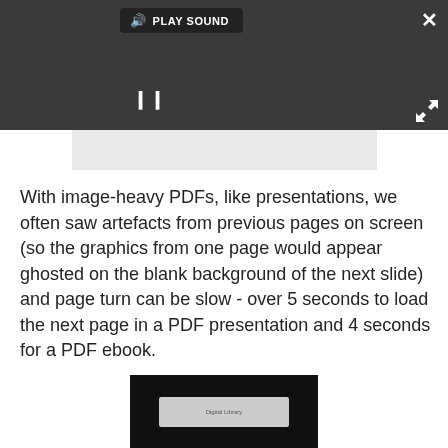[Figure (screenshot): Dark overlay bar with a video/media player area showing a loading spinner circle and a pause button. A 'PLAY SOUND' label with speaker icon appears at top. A close (×) button at top-right and an expand arrows icon at right side.]
With image-heavy PDFs, like presentations, we often saw artefacts from previous pages on screen (so the graphics from one page would appear ghosted on the blank background of the next slide) and page turn can be slow - over 5 seconds to load the next page in a PDF presentation and 4 seconds for a PDF ebook.
[Figure (photo): Dark background photo showing what appears to be a tablet or e-reader device with a small UI element visible.]